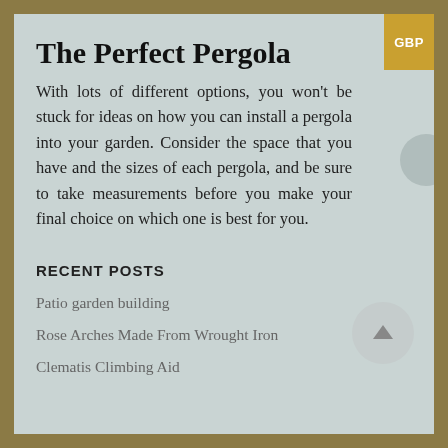The Perfect Pergola
With lots of different options, you won't be stuck for ideas on how you can install a pergola into your garden. Consider the space that you have and the sizes of each pergola, and be sure to take measurements before you make your final choice on which one is best for you.
RECENT POSTS
Patio garden building
Rose Arches Made From Wrought Iron
Clematis Climbing Aid